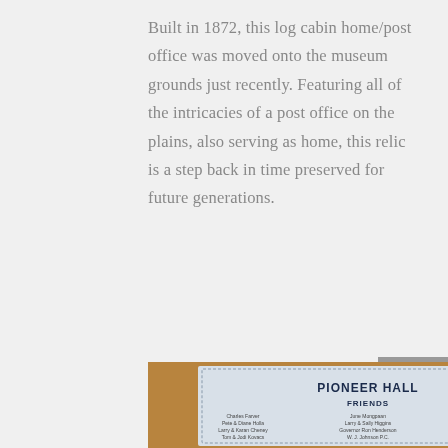Built in 1872, this log cabin home/post office was moved onto the museum grounds just recently. Featuring all of the intricacies of a post office on the plains, also serving as home, this relic is a step back in time preserved for future generations.
[Figure (photo): A framed sign reading 'PIONEER HALL' with 'FRIENDS' subtitle and columns of donor names listed below, displayed in a wooden frame against a light blue background.]